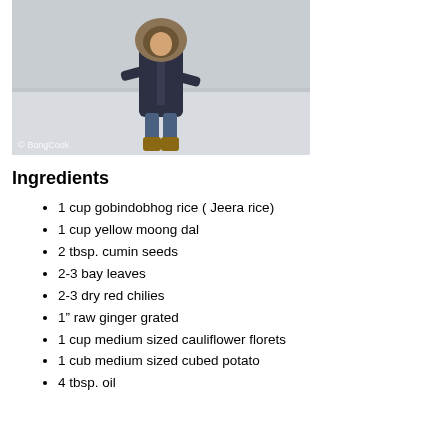[Figure (photo): A person wearing a dark navy winter coat with fur-trimmed hood standing on a snowy/icy flat landscape. Watermark '© BongCook' in bottom left corner.]
Ingredients
1 cup gobindobhog rice ( Jeera rice)
1 cup yellow moong dal
2 tbsp. cumin seeds
2-3 bay leaves
2-3 dry red chilies
1" raw ginger grated
1 cup medium sized cauliflower florets
1 cub medium sized cubed potato
4 tbsp. oil